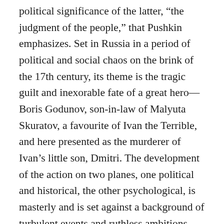political significance of the latter, “the judgment of the people,” that Pushkin emphasizes. Set in Russia in a period of political and social chaos on the brink of the 17th century, its theme is the tragic guilt and inexorable fate of a great hero—Boris Godunov, son-in-law of Malyuta Skuratov, a favourite of Ivan the Terrible, and here presented as the murderer of Ivan’s little son, Dmitri. The development of the action on two planes, one political and historical, the other psychological, is masterly and is set against a background of turbulent events and ruthless ambitions. The play owes much to Pushkin’s reading of early Russian annals and chronicles, as well as to Shakespeare, who, as Pushkin said, was his master in bold, free treatment of character, simplicity, and truth to nature. Although lacking the heightened, poetic passion of Shakespeare’s tragedies, Boris excels in